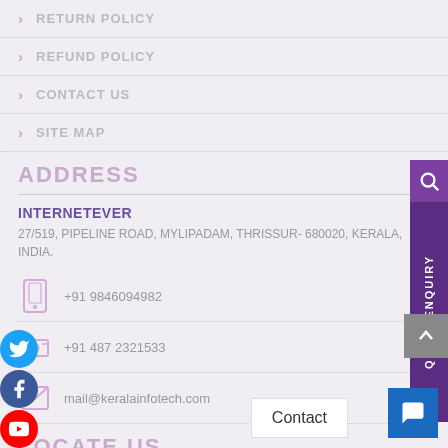RETURN POLICY
REFUND POLICY
CONTACT US
SITE MAP
ADDRESS
INTERNETEVER
27/519, PIPELINE ROAD, MYLIPADAM, THRISSUR- 680020, KERALA, INDIA.
+91 9846094982
+91 487 2321533
mail@keralainfotech.com
LOCATE US